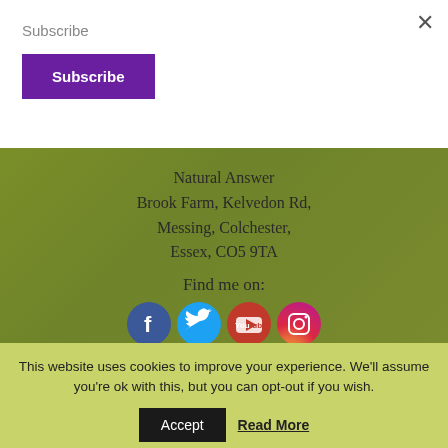Subscribe
Subscribe
Natural Answer
Brook Farm, Kelvedon Rd,
Messing, Colchester,
Essex, CO5 9TA
Find me on:
[Figure (infographic): Four social media icons: Facebook (blue circle with f), Twitter (cyan circle with bird), YouTube (red circle with play button), Instagram (gradient circle with camera)]
This website uses cookies to improve your experience. We'll assume you're ok with this, but you can opt-out if you wish.
Accept
Read More